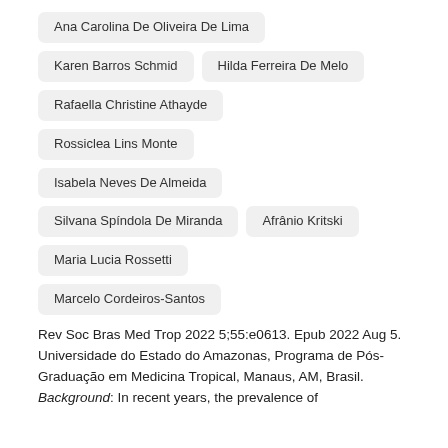Ana Carolina De Oliveira De Lima
Karen Barros Schmid
Hilda Ferreira De Melo
Rafaella Christine Athayde
Rossiclea Lins Monte
Isabela Neves De Almeida
Silvana Spíndola De Miranda
Afrânio Kritski
Maria Lucia Rossetti
Marcelo Cordeiros-Santos
Rev Soc Bras Med Trop 2022 5;55:e0613. Epub 2022 Aug 5.
Universidade do Estado do Amazonas, Programa de Pós-Graduação em Medicina Tropical, Manaus, AM, Brasil.
Background: In recent years, the prevalence of